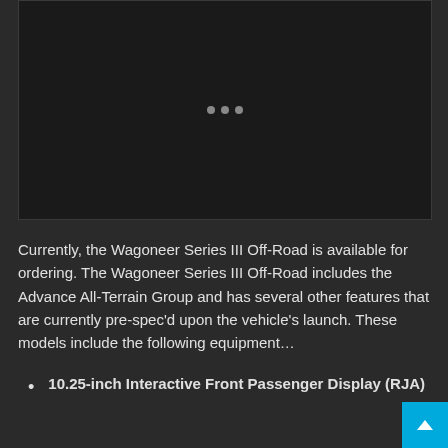[Figure (photo): Dark image area with three small dots indicating a media player or slideshow control]
Currently, the Wagoneer Series III Off-Road is available for ordering. The Wagoneer Series III Off-Road includes the Advance All-Terrain Group and has several other features that are currently pre-spec'd upon the vehicle's launch. These models include the following equipment…
10.25-inch Interactive Front Passenger Display (RJA)